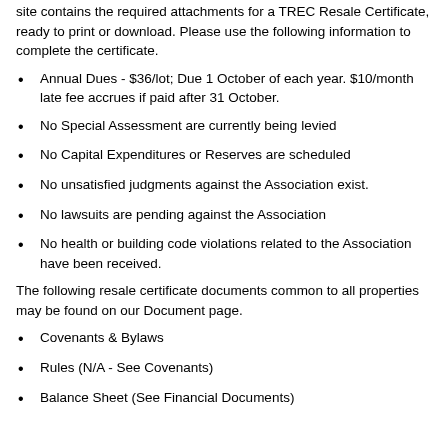site contains the required attachments for a TREC Resale Certificate, ready to print or download. Please use the following information to complete the certificate.
Annual Dues - $36/lot; Due 1 October of each year. $10/month late fee accrues if paid after 31 October.
No Special Assessment are currently being levied
No Capital Expenditures or Reserves are scheduled
No unsatisfied judgments against the Association exist.
No lawsuits are pending against the Association
No health or building code violations related to the Association have been received.
The following resale certificate documents common to all properties may be found on our Document page.
Covenants & Bylaws
Rules (N/A - See Covenants)
Balance Sheet (See Financial Documents)